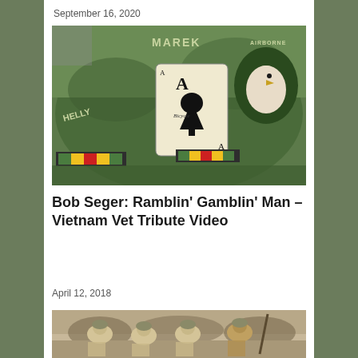September 16, 2020
[Figure (photo): Vietnam War era military helmet with Ace of Spades Bicycle playing card and 101st Airborne Division patch, Vietnam service ribbon in foreground]
Bob Seger: Ramblin' Gamblin' Man – Vietnam Vet Tribute Video
April 12, 2018
[Figure (photo): Group of soldiers in light tan/khaki uniforms and helmets posing together outdoors]